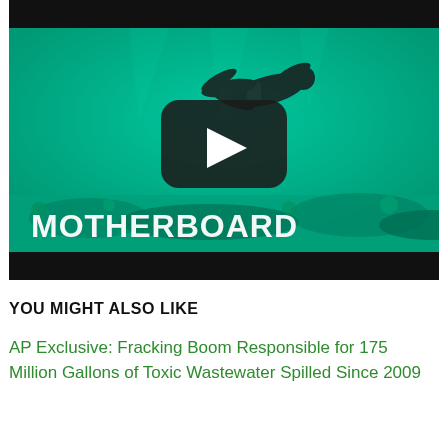[Figure (screenshot): Video thumbnail showing a scuba diver underwater in green-tinted water above a coral reef. A large YouTube-style play button (black rounded rectangle with white triangle) is centered on the image. The word MOTHERBOARD appears in large bold white text at the bottom of the video frame. Black letterbox bars appear at the top and bottom of the video.]
YOU MIGHT ALSO LIKE
AP Exclusive: Fracking Boom Responsible for 175 Million Gallons of Toxic Wastewater Spilled Since 2009